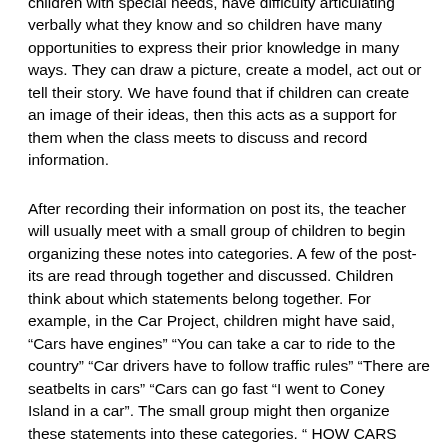children with special needs, have difficulty articulating verbally what they know and so children have many opportunities to express their prior knowledge in many ways. They can draw a picture, create a model, act out or tell their story. We have found that if children can create an image of their ideas, then this acts as a support for them when the class meets to discuss and record information.
After recording their information on post its, the teacher will usually meet with a small group of children to begin organizing these notes into categories. A few of the post-its are read through together and discussed. Children think about which statements belong together. For example, in the Car Project, children might have said, “Cars have engines” “You can take a car to ride to the country” “Car drivers have to follow traffic rules” “There are seatbelts in cars” “Cars can go fast “I went to Coney Island in a car”. The small group might then organize these statements into these categories. “ HOW CARS CAN GO, WHERE CARS CAN GO, PARTS OF A CAR,